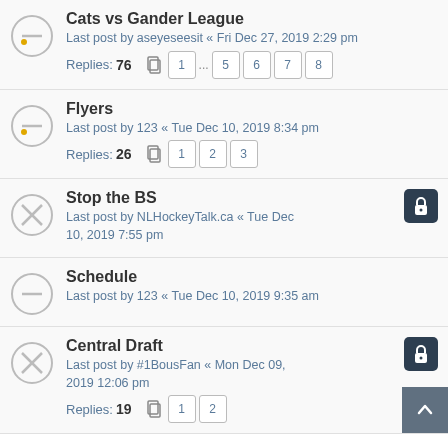Cats vs Gander League — Last post by aseyeseesit « Fri Dec 27, 2019 2:29 pm — Replies: 76 — Pages: 1 ... 5 6 7 8
Flyers — Last post by 123 « Tue Dec 10, 2019 8:34 pm — Replies: 26 — Pages: 1 2 3
Stop the BS [Locked] — Last post by NLHockeyTalk.ca « Tue Dec 10, 2019 7:55 pm
Schedule — Last post by 123 « Tue Dec 10, 2019 9:35 am
Central Draft [Locked] — Last post by #1BousFan « Mon Dec 09, 2019 12:06 pm — Replies: 19 — Pages: 1 2